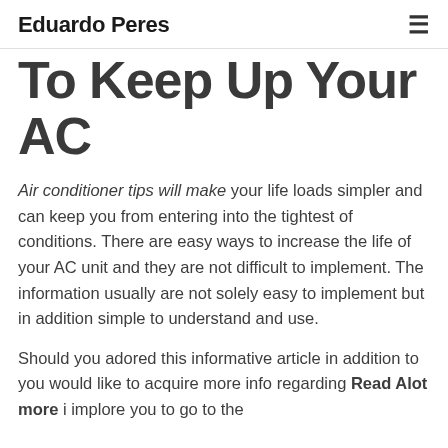Eduardo Peres
To Keep Up Your AC
Air conditioner tips will make your life loads simpler and can keep you from entering into the tightest of conditions. There are easy ways to increase the life of your AC unit and they are not difficult to implement. The information usually are not solely easy to implement but in addition simple to understand and use.
Should you adored this informative article in addition to you would like to acquire more info regarding Read Alot more i implore you to go to the…